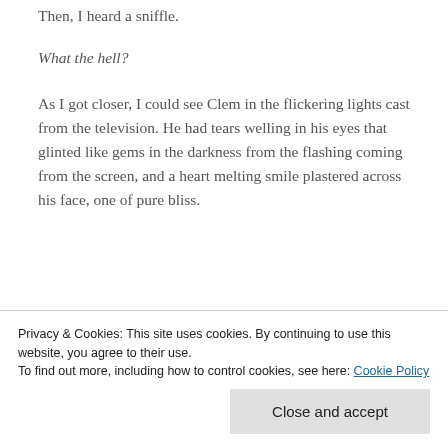Then, I heard a sniffle.
What the hell?
As I got closer, I could see Clem in the flickering lights cast from the television. He had tears welling in his eyes that glinted like gems in the darkness from the flashing coming from the screen, and a heart melting smile plastered across his face, one of pure bliss.
What the f—
been watching...
Privacy & Cookies: This site uses cookies. By continuing to use this website, you agree to their use.
To find out more, including how to control cookies, see here: Cookie Policy
Close and accept